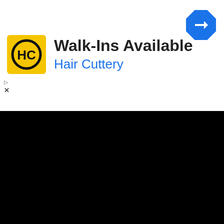[Figure (logo): Hair Cuttery advertisement banner with HC logo, Walk-Ins Available headline, and navigation arrow icon]
2021 © Motivasi.my.id | About Us | Cookie Policy | DMCA | Privacy Policy | Terms Of Use | Contact
DISCLAIMER: This is a private website that is NOT affiliated with the U.S. government. All submitted content remains the property of its original copyright holder. The images are for personal and non-commercial use. If you are the copyright owner of content which appears on our website and you did not authorize the use of the content, you must notify us by contacting us to identify the allegedly infringing content and take action.